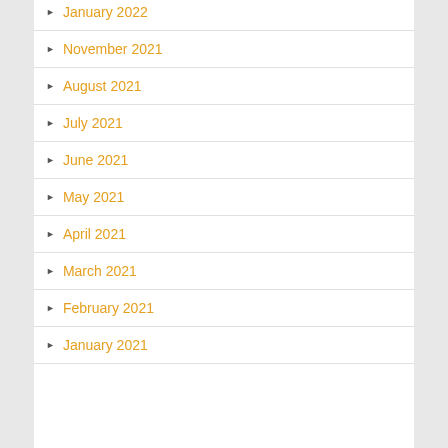January 2022
November 2021
August 2021
July 2021
June 2021
May 2021
April 2021
March 2021
February 2021
January 2021